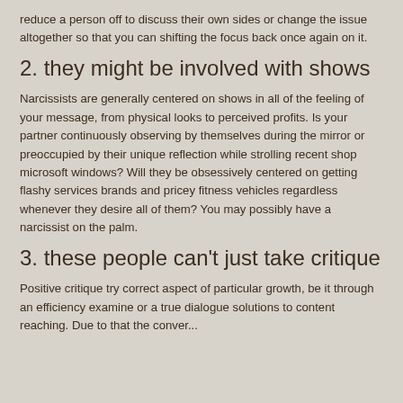reduce a person off to discuss their own sides or change the issue altogether so that you can shifting the focus back once again on it.
2. they might be involved with shows
Narcissists are generally centered on shows in all of the feeling of your message, from physical looks to perceived profits. Is your partner continuously observing by themselves during the mirror or preoccupied by their unique reflection while strolling recent shop microsoft windows? Will they be obsessively centered on getting flashy services brands and pricey fitness vehicles regardless whenever they desire all of them? You may possibly have a narcissist on the palm.
3. these people can't just take critique
Positive critique try correct aspect of particular growth, be it through an efficiency examine or a true dialogue solutions to content reaching. Due to that the conver...